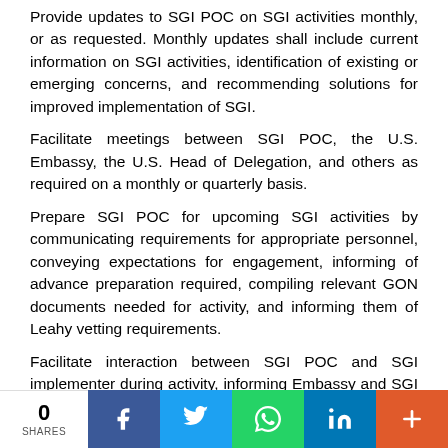Provide updates to SGI POC on SGI activities monthly, or as requested. Monthly updates shall include current information on SGI activities, identification of existing or emerging concerns, and recommending solutions for improved implementation of SGI.
Facilitate meetings between SGI POC, the U.S. Embassy, the U.S. Head of Delegation, and others as required on a monthly or quarterly basis.
Prepare SGI POC for upcoming SGI activities by communicating requirements for appropriate personnel, conveying expectations for engagement, informing of advance preparation required, compiling relevant GON documents needed for activity, and informing them of Leahy vetting requirements.
Facilitate interaction between SGI POC and SGI implementer during activity, informing Embassy and SGI Office of any concerns.
0 SHARES | Facebook | Twitter | WhatsApp | LinkedIn | More